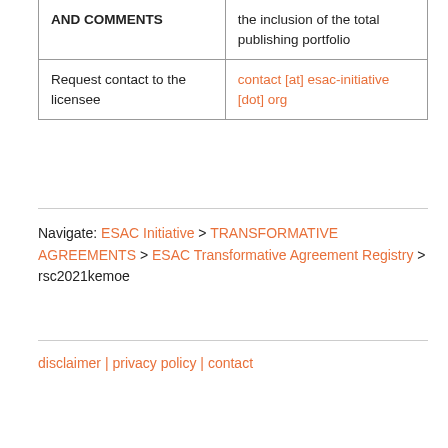| AND COMMENTS |  |
| --- | --- |
|  | the inclusion of the total publishing portfolio |
| Request contact to the licensee | contact [at] esac-initiative [dot] org |
Navigate: ESAC Initiative > TRANSFORMATIVE AGREEMENTS > ESAC Transformative Agreement Registry > rsc2021kemoe
disclaimer | privacy policy | contact